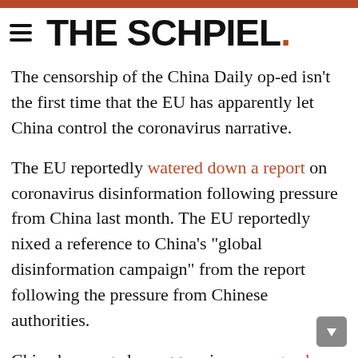THE SCHPIEL.
The censorship of the China Daily op-ed isn't the first time that the EU has apparently let China control the coronavirus narrative.
The EU reportedly watered down a report on coronavirus disinformation following pressure from China last month. The EU reportedly nixed a reference to China's "global disinformation campaign" from the report following the pressure from Chinese authorities.
China has waged an aggressive propaganda campaign meant to absolve itself from blame for the coronavirus pandemic.